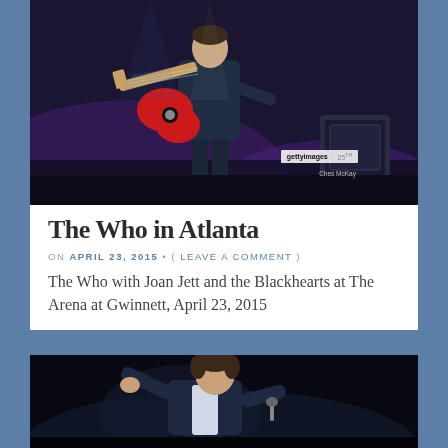[Figure (photo): Concert photo of a guitarist on stage holding a red electric guitar, dark blue/purple stage lighting, Getty Images watermark visible]
The Who in Atlanta
ON APRIL 23, 2015 • ( LEAVE A COMMENT )
The Who with Joan Jett and the Blackhearts at The Arena at Gwinnett, April 23, 2015
[Figure (photo): Concert photo of Paul McCartney on stage, pointing with one hand, wearing a dark jacket, against a dark background]